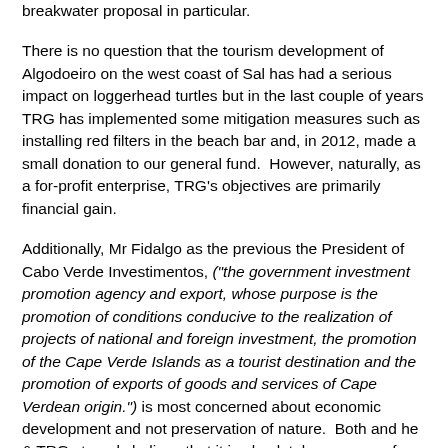breakwater proposal in particular.
There is no question that the tourism development of Algodoeiro on the west coast of Sal has had a serious impact on loggerhead turtles but in the last couple of years TRG has implemented some mitigation measures such as installing red filters in the beach bar and, in 2012, made a small donation to our general fund.  However, naturally, as a for-profit enterprise, TRG's objectives are primarily financial gain.
Additionally, Mr Fidalgo as the previous the President of Cabo Verde Investimentos, ("the government investment promotion agency and export, whose purpose is the promotion of conditions conducive to the realization of projects of national and foreign investment, the promotion of the Cape Verde Islands as a tourist destination and the promotion of exports of goods and services of Cape Verdean origin.") is most concerned about economic development and not preservation of nature.  Both and he & TRG strongly believe that it is absolutely necessary for the development of Sal as a tourist destination to have an enclosed swimming